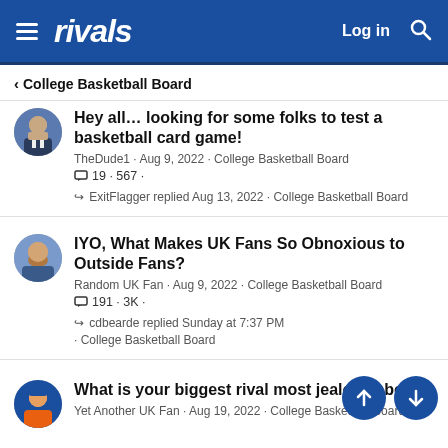rivals | Log in
< College Basketball Board
Hey all… looking for some folks to test a basketball card game! TheDude1 · Aug 9, 2022 · College Basketball Board 19 · 567 · ExitFlagger replied Aug 13, 2022 · College Basketball Board
IYO, What Makes UK Fans So Obnoxious to Outside Fans? Random UK Fan · Aug 9, 2022 · College Basketball Board 191 · 3K · cdbearde replied Sunday at 7:37 PM · College Basketball Board
What is your biggest rival most jealous abo... Yet Another UK Fan · Aug 19, 2022 · College Basketball Board